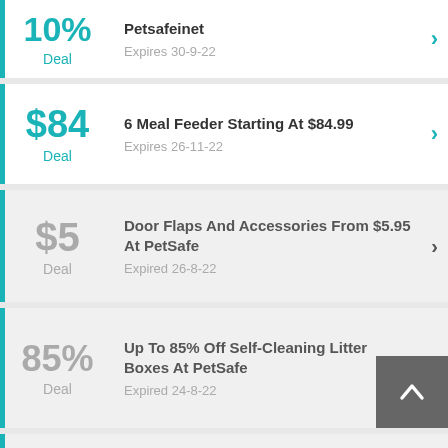18% Deal — Petsafeinet — Expires 30-9-22
$84 Deal — 6 Meal Feeder Starting At $84.99 — Expires 26-11-22
$5 Deal — Door Flaps And Accessories From $5.95 At PetSafe — Expired 26-8-22
85% Deal — Up To 85% Off Self-Cleaning Litter Boxes At PetSafe — Expired 24-8-22
Pet Tech Products Starting At $21.95